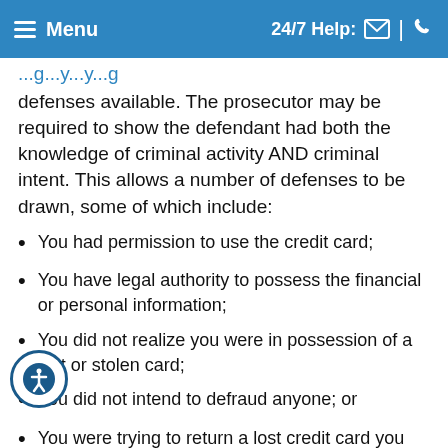Menu | 24/7 Help:
defenses available. The prosecutor may be required to show the defendant had both the knowledge of criminal activity AND criminal intent. This allows a number of defenses to be drawn, some of which include:
You had permission to use the credit card;
You have legal authority to possess the financial or personal information;
You did not realize you were in possession of a lost or stolen card;
You did not intend to defraud anyone; or
You were trying to return a lost credit card you found.